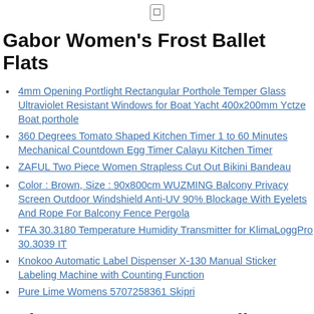⬜
Gabor Women's Frost Ballet Flats
4mm Opening Portlight Rectangular Porthole Temper Glass Ultraviolet Resistant Windows for Boat Yacht 400x200mm Yctze Boat porthole
360 Degrees Tomato Shaped Kitchen Timer 1 to 60 Minutes Mechanical Countdown Egg Timer Calayu Kitchen Timer
ZAFUL Two Piece Women Strapless Cut Out Bikini Bandeau
Color : Brown, Size : 90x800cm WUZMING Balcony Privacy Screen Outdoor Windshield Anti-UV 90% Blockage With Eyelets And Rope For Balcony Fence Pergola
TFA 30.3180 Temperature Humidity Transmitter for KlimaLoggPro 30.3039 IT
Knokoo Automatic Label Dispenser X-130 Manual Sticker Labeling Machine with Counting Function
Pure Lime Womens 5707258361 Skipri
Gabor Women's Frost Ballet